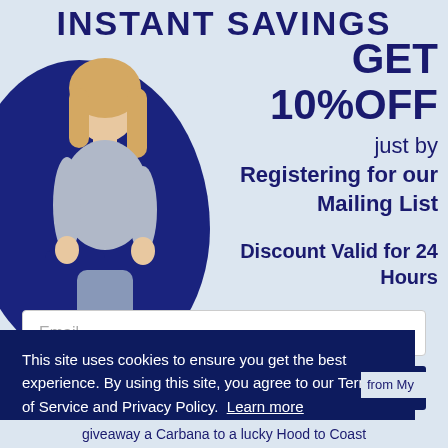INSTANT SAVINGS
[Figure (photo): Young blonde woman with a blue tote bag on her shoulder, standing against a light blue background with a dark navy blob/circle behind her]
GET 10%OFF
just by
Registering for our Mailing List
Discount Valid for 24 Hours
Email
Sign Me Up
This site uses cookies to ensure you get the best experience. By using this site, you agree to our Terms of Service and Privacy Policy. Learn more
Got it!
from My
giveaway a Carbana to a lucky Hood to Coast